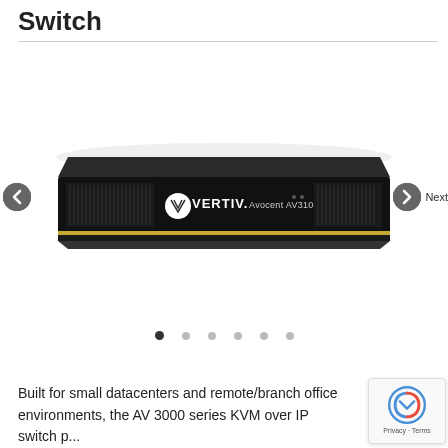Switch
[Figure (photo): Vertiv Avocent AV3108 KVM over IP switch — 1U rack-mount device with black chassis, front panel ventilation grilles, Vertiv logo and 'Avocent AV3108' label, with gold accent stripe. Navigation arrows (left/right) and 'Next' label visible on sides.]
Built for small datacenters and remote/branch office environments, the AV 3000 series KVM over IP switch p...